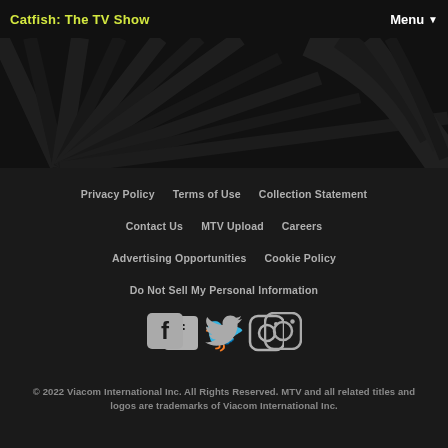Catfish: The TV Show   Menu
[Figure (illustration): Dark decorative banner with radiating black and dark gray stripes/rays pattern on black background]
Privacy Policy    Terms of Use    Collection Statement
Contact Us    MTV Upload    Careers
Advertising Opportunities    Cookie Policy
Do Not Sell My Personal Information
[Figure (illustration): Social media icons: Facebook, Twitter, Instagram in white/light gray on dark background]
© 2022 Viacom International Inc. All Rights Reserved. MTV and all related titles and logos are trademarks of Viacom International Inc.